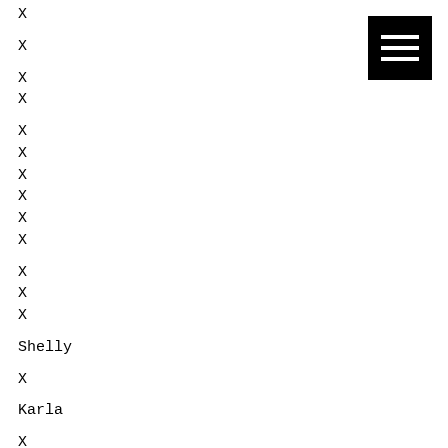X
X
X
X
X
X
X
X
X
X
X
X
X
Shelly
X
Karla
X
Brandee
X
[Figure (other): Hamburger menu icon — black square with three white horizontal bars]